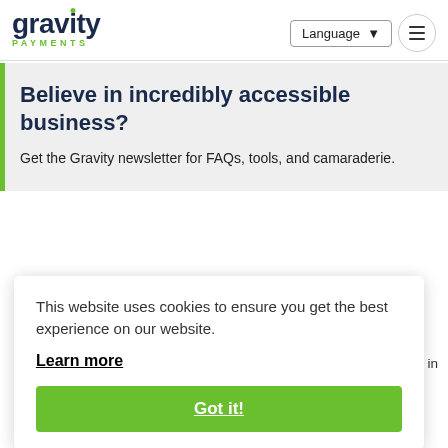[Figure (logo): Gravity Payments logo - dark blue text with green dot accent and green PAYMENTS text below]
Language ▼
Believe in incredibly accessible business?
Get the Gravity newsletter for FAQs, tools, and camaraderie.
This website uses cookies to ensure you get the best experience on our website.
Learn more
Got it!
each department. Then one day, you see someone move from Customer Support to Underwriting. It probably doesn't